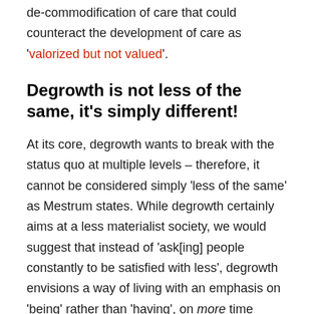de-commodification of care that could counteract the development of care as 'valorized but not valued'.
Degrowth is not less of the same, it's simply different!
At its core, degrowth wants to break with the status quo at multiple levels – therefore, it cannot be considered simply 'less of the same' as Mestrum states. While degrowth certainly aims at a less materialist society, we would suggest that instead of 'ask[ing] people constantly to be satisfied with less', degrowth envisions a way of living with an emphasis on 'being' rather than 'having', on more time sovereignty and on more conviviality.